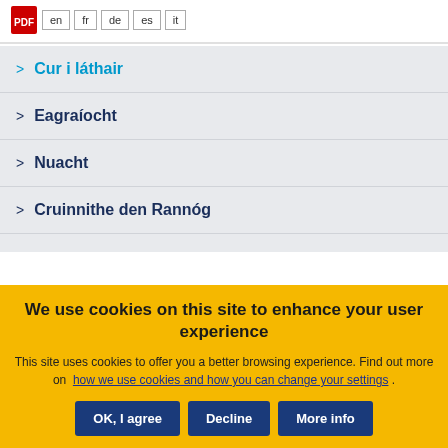en fr de es it (language selector with PDF icon)
> Cur i láthair
> Eagraíocht
> Nuacht
> Cruinnithe den Rannóg
We use cookies on this site to enhance your user experience
This site uses cookies to offer you a better browsing experience. Find out more on how we use cookies and how you can change your settings .
OK, I agree
Decline
More info